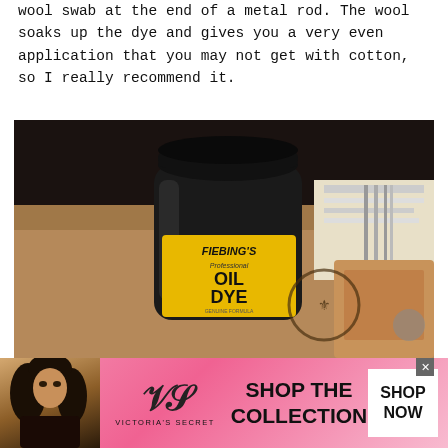wool swab at the end of a metal rod. The wool soaks up the dye and gives you a very even application that you may not get with cotton, so I really recommend it.
[Figure (photo): A bottle of Fiebing's Professional Oil Dye (black label, yellow label) sitting on a wooden surface with leather pieces and papers in the background.]
[Figure (photo): Victoria's Secret advertisement banner with a model, VS logo, 'SHOP THE COLLECTION' text, and a 'SHOP NOW' button on a pink background.]